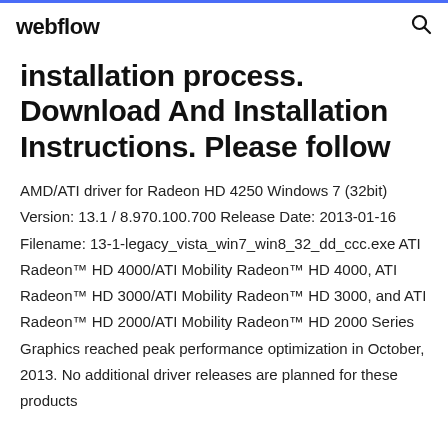webflow
installation process. Download And Installation Instructions. Please follow
AMD/ATI driver for Radeon HD 4250 Windows 7 (32bit) Version: 13.1 / 8.970.100.700 Release Date: 2013-01-16 Filename: 13-1-legacy_vista_win7_win8_32_dd_ccc.exe ATI Radeon™ HD 4000/ATI Mobility Radeon™ HD 4000, ATI Radeon™ HD 3000/ATI Mobility Radeon™ HD 3000, and ATI Radeon™ HD 2000/ATI Mobility Radeon™ HD 2000 Series Graphics reached peak performance optimization in October, 2013. No additional driver releases are planned for these products